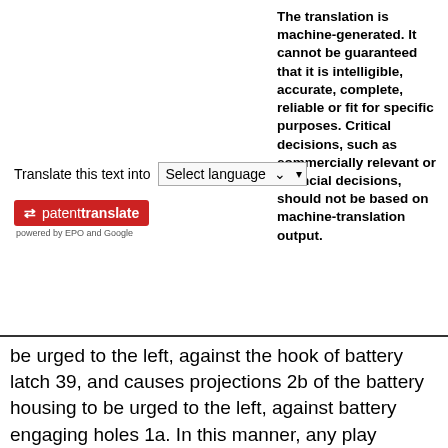The translation is machine-generated. It cannot be guaranteed that it is intelligible, accurate, complete, reliable or fit for specific purposes. Critical decisions, such as commercially relevant or financial decisions, should not be based on machine-translation output.
Translate this text into  Select language
[Figure (logo): Patent Translate logo badge in red with arrow icon and text 'patenttranslate', beneath it 'powered by EPO and Google']
be urged to the left, against the hook of battery latch 39, and causes projections 2b of the battery housing to be urged to the left, against battery engaging holes 1a. In this manner, any play between battery housing 2d and base member 1 is eliminated and the battery is positively retained on rear